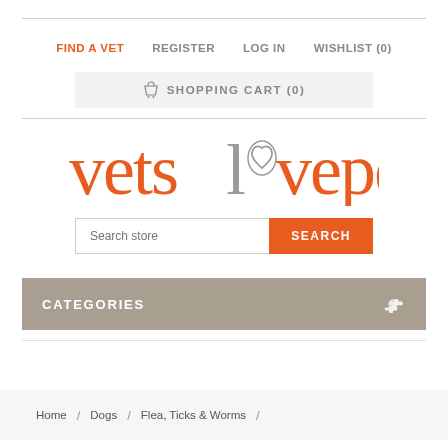FIND A VET  REGISTER  LOG IN  WISHLIST (0)
SHOPPING CART (0)
[Figure (logo): vetslovepets logo with heart symbol in the letter o, orange and gray text]
Search store  SEARCH
CATEGORIES
Home / Dogs / Flea, Ticks & Worms /